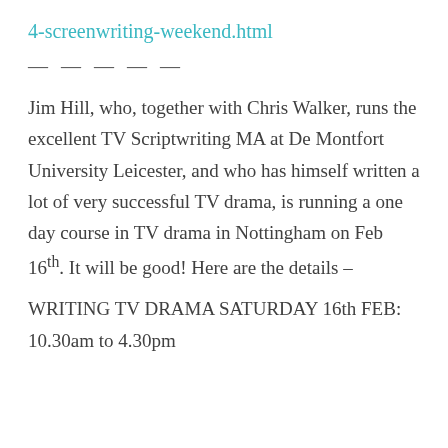4-screenwriting-weekend.html
— — — — —
Jim Hill, who, together with Chris Walker, runs the excellent TV Scriptwriting MA at De Montfort University Leicester, and who has himself written a lot of very successful TV drama, is running a one day course in TV drama in Nottingham on Feb 16th. It will be good! Here are the details –
WRITING TV DRAMA SATURDAY 16th FEB: 10.30am to 4.30pm